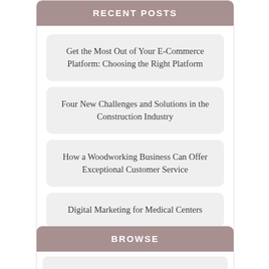RECENT POSTS
Get the Most Out of Your E-Commerce Platform: Choosing the Right Platform
Four New Challenges and Solutions in the Construction Industry
How a Woodworking Business Can Offer Exceptional Customer Service
Digital Marketing for Medical Centers
BROWSE